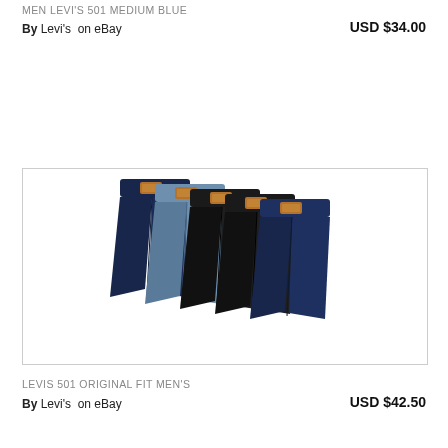MEN LEVI'S 501 MEDIUM BLUE
By Levi's on eBay    USD $34.00
[Figure (photo): Five pairs of Levi's 501 jeans fanned out overlapping each other, showing dark navy, light blue, black, black, and dark navy denim colors, each with an orange leather patch label at the waistband.]
LEVIS 501 ORIGINAL FIT MEN'S
By Levi's on eBay    USD $42.50